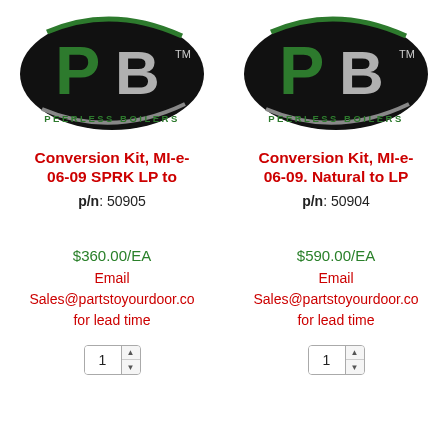[Figure (logo): Peerless Boilers logo — black oval with green P and silver B, TM mark, PEERLESS BOILERS text below (left column)]
[Figure (logo): Peerless Boilers logo — black oval with green P and silver B, TM mark, PEERLESS BOILERS text below (right column)]
Conversion Kit, MI-e-06-09 SPRK LP to
p/n: 50905
Conversion Kit, MI-e-06-09. Natural to LP
p/n: 50904
$360.00/EA
Email Sales@partstoyourdoor.co for lead time
$590.00/EA
Email Sales@partstoyourdoor.co for lead time